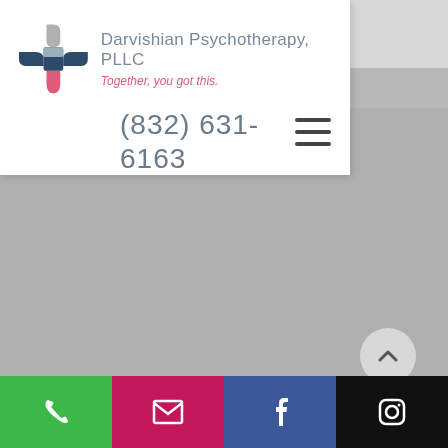[Figure (logo): Darvishian Psychotherapy PLLC logo - circular cross/plus shape with dark blue and pink colors]
Darvishian Psychotherapy, PLLC
Together, you got this.
(832) 631-6163
[Figure (other): Gray background area with scroll-to-top button (chevron up arrow in circle)]
[Figure (other): Bottom navigation bar with phone (green), email (pink/magenta), facebook (blue), instagram (black) icons]